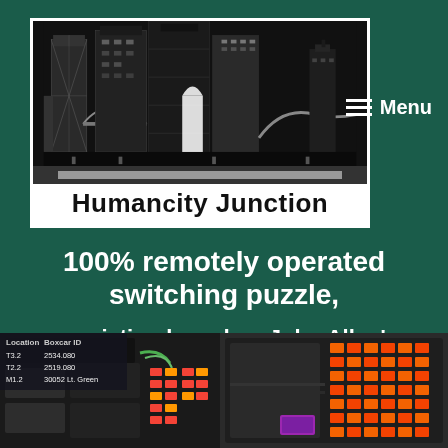[Figure (logo): Humancity Junction logo with city skyline silhouette on dark background, white border, text 'Humancity Junction' below]
Menu
100% remotely operated switching puzzle, a variation based on John Allen's Timesaver
[Figure (photo): Photo of model railroad electronics hardware with table overlay showing Location and Boxcar ID columns, and hardware with colored lights on right]